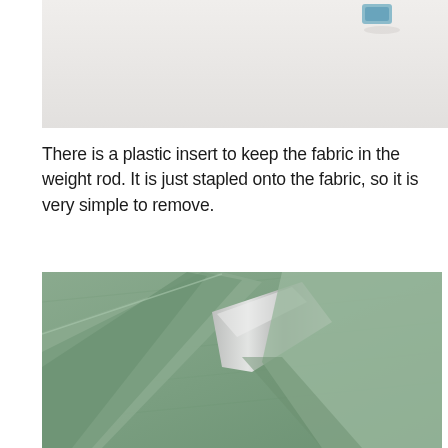[Figure (photo): Partial view of fabric and a small plastic insert/staple component on a white surface, cropped at top of page]
There is a plastic insert to keep the fabric in the weight rod. It is just stapled onto the fabric, so it is very simple to remove.
[Figure (photo): Close-up photo of sage green fabric folded back to reveal a shiny metallic/silver weight rod insert underneath]